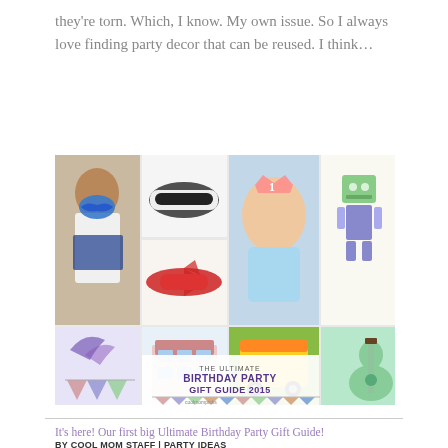they're torn. Which, I know. My own issue. So I always love finding party decor that can be reused. I think…
[Figure (photo): Collage of birthday party gift guide images including a child in superhero costume, sneakers, toy airplane, baby with birthday crown, wooden robot toy, dollhouse, circus train toy, monster bookends, guitar, and 'The Ultimate Birthday Party Gift Guide 2015' banner.]
It's here! Our first big Ultimate Birthday Party Gift Guide!
BY COOL MOM STAFF | PARTY IDEAS